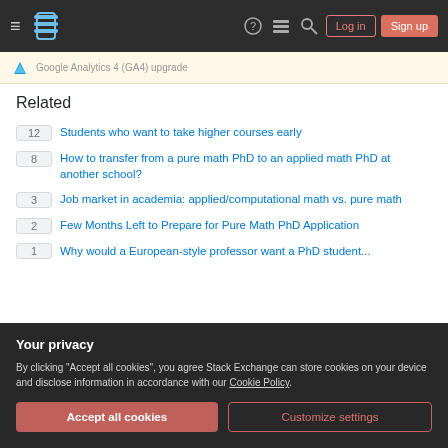Stack Exchange navigation bar with hamburger menu, logo, help, chat, search icons, Log in and Sign up buttons
Google Analytics 4 (GA4) upgrade
Related
12  Students who want to take higher courses early
8  How to transfer from a pure math PhD to an applied math PhD at another school?
3  Job market in academia: applied/computational math vs. pure math
2  Few Months Left to Prepare for Pure Math PhD Application
1  Why would a European-style professor want a PhD student...
Your privacy
By clicking "Accept all cookies", you agree Stack Exchange can store cookies on your device and disclose information in accordance with our Cookie Policy.
Accept all cookies
Customize settings